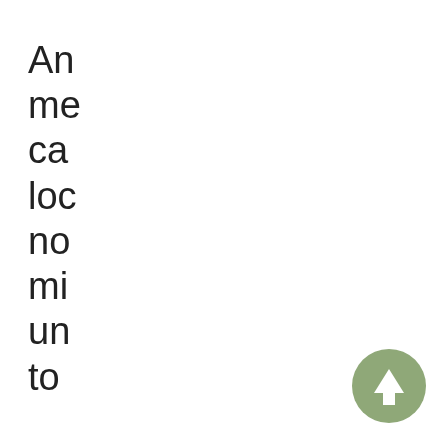An me ca loc no mi un to
L --Look Key Shop Haymarket, VA 571 200 0285 o vi n g y o u r c
[Figure (other): Circular green/olive up-arrow button in bottom right corner]